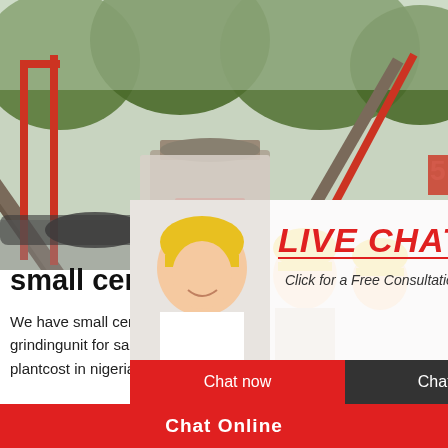[Figure (photo): Industrial cement grinding machinery and conveyor belts outdoors with trees in background]
[Figure (photo): Live chat popup overlay with workers in yellow hard hats, LIVE CHAT heading in red italic text, 'Click for a Free Consultation' subtitle, and Chat now / Chat later buttons]
[Figure (photo): Right sidebar with '24 hrs Online' red banner and female customer service agent with headset, and 'Need questions & suggestion? Chat Now' panel]
small cement grinding mill paint in ...
We have small cement grinding mill palnt in ...,grindingunit for sale,smallscale concrete .sma... plantcost in nigeria,minicement grinding mill...
Chat Online